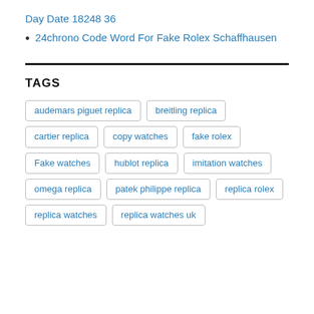Day Date 18248 36
24chrono Code Word For Fake Rolex Schaffhausen
TAGS
audemars piguet replica
breitling replica
cartier replica
copy watches
fake rolex
Fake watches
hublot replica
imitation watches
omega replica
patek philippe replica
replica rolex
replica watches
replica watches uk